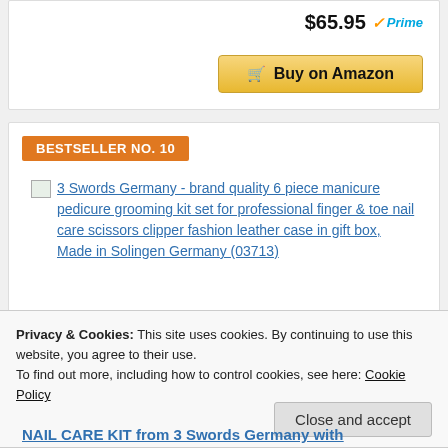$65.95 Prime
Buy on Amazon
BESTSELLER NO. 10
3 Swords Germany - brand quality 6 piece manicure pedicure grooming kit set for professional finger & toe nail care scissors clipper fashion leather case in gift box, Made in Solingen Germany (03713)
3 Swords Germany - brand quality 6 piece
Privacy & Cookies: This site uses cookies. By continuing to use this website, you agree to their use.
To find out more, including how to control cookies, see here: Cookie Policy
Close and accept
NAIL CARE KIT from 3 Swords Germany with